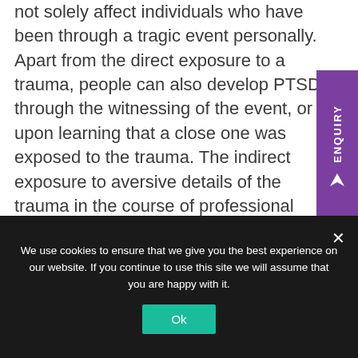not solely affect individuals who have been through a tragic event personally. Apart from the direct exposure to a trauma, people can also develop PTSD through the witnessing of the event, or upon learning that a close one was exposed to the trauma. The indirect exposure to aversive details of the trauma in the course of professional duties (such as first responders or paramedics) can also make one prone to developing PTSD. With the effects lasting a lifetime for some individuals, PTSD can be debilitating to one's mental
We use cookies to ensure that we give you the best experience on our website. If you continue to use this site we will assume that you are happy with it.